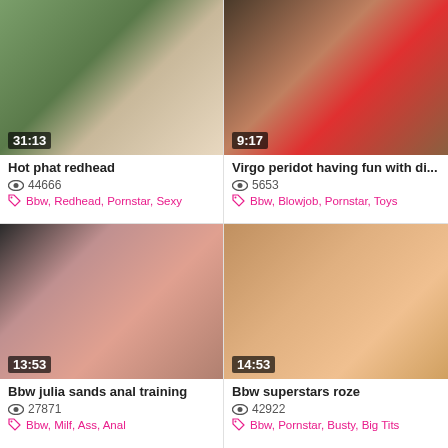[Figure (photo): Video thumbnail showing adult content, duration 31:13]
Hot phat redhead
👁 44666
🏷 Bbw, Redhead, Pornstar, Sexy
[Figure (photo): Video thumbnail showing adult content, duration 9:17]
Virgo peridot having fun with di...
👁 5653
🏷 Bbw, Blowjob, Pornstar, Toys
[Figure (photo): Video thumbnail showing adult content, duration 13:53]
Bbw julia sands anal training
👁 27871
🏷 Bbw, Milf, Ass, Anal
[Figure (photo): Video thumbnail showing adult content, duration 14:53]
Bbw superstars roze
👁 42922
🏷 Bbw, Pornstar, Busty, Big Tits